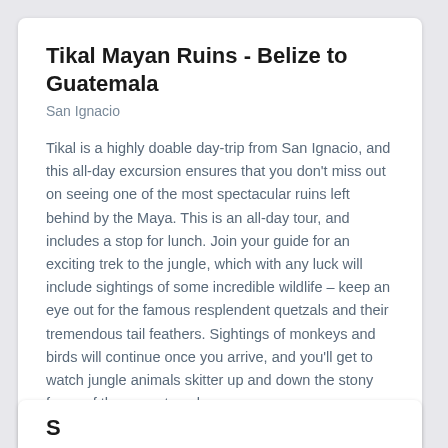Tikal Mayan Ruins - Belize to Guatemala
San Ignacio
Tikal is a highly doable day-trip from San Ignacio, and this all-day excursion ensures that you don't miss out on seeing one of the most spectacular ruins left behind by the Maya. This is an all-day tour, and includes a stop for lunch. Join your guide for an exciting trek to the jungle, which with any luck will include sightings of some incredible wildlife – keep an eye out for the famous resplendent quetzals and their tremendous tail feathers. Sightings of monkeys and birds will continue once you arrive, and you'll get to watch jungle animals skitter up and down the stony faces of the many temples.
Nature Walk
Ruins
Walking